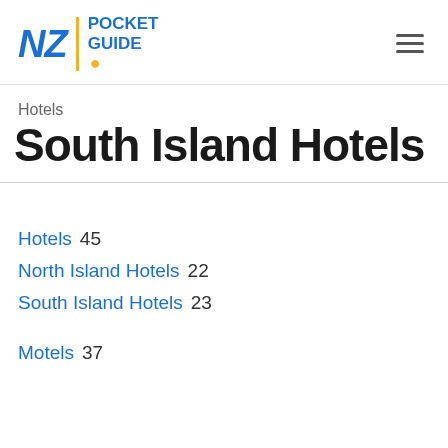NZ POCKET GUIDE
Hotels
South Island Hotels
Hotels  45
North Island Hotels  22
South Island Hotels  23
Motels  37
North Island Motels  17